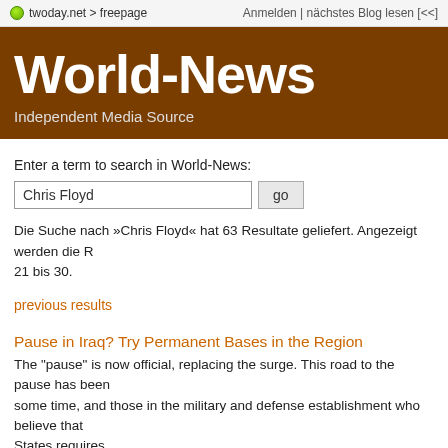twoday.net > freepage    Anmelden | nächstes Blog lesen [<<]
World-News
Independent Media Source
Enter a term to search in World-News:
Chris Floyd
Die Suche nach »Chris Floyd« hat 63 Resultate geliefert. Angezeigt werden die R 21 bis 30.
previous results
Pause in Iraq? Try Permanent Bases in the Region
The "pause" is now official, replacing the surge. This road to the pause has been some time, and those in the military and defense establishment who believe that States requires... ...
rudkla - 24. Feb, 17:10